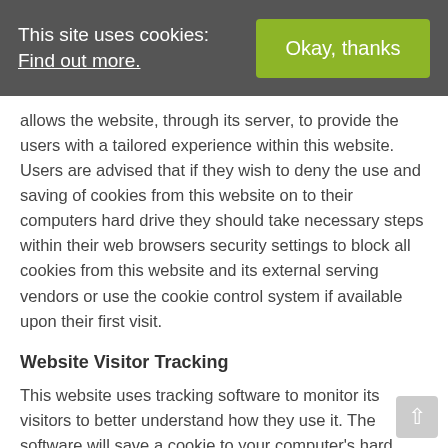This site uses cookies: Find out more.
Okay, thanks
allows the website, through its server, to provide the users with a tailored experience within this website. Users are advised that if they wish to deny the use and saving of cookies from this website on to their computers hard drive they should take necessary steps within their web browsers security settings to block all cookies from this website and its external serving vendors or use the cookie control system if available upon their first visit.
Website Visitor Tracking
This website uses tracking software to monitor its visitors to better understand how they use it. The software will save a cookie to your computer's hard drive in order to track and monitor your engagement and usage of the website, but will